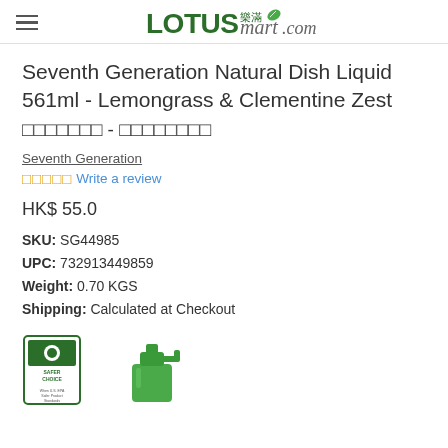LOTUSmart.com
Seventh Generation Natural Dish Liquid 561ml - Lemongrass & Clementine Zest 第七代天然洗碗液 - 香茅及柑橘皮
Seventh Generation
□□□□□ Write a review
HK$ 55.0
SKU: SG44985
UPC: 732913449859
Weight: 0.70 KGS
Shipping: Calculated at Checkout
[Figure (photo): Safer Choice badge/logo (green and white label)]
[Figure (photo): Green pump dispenser bottle top of Seventh Generation dish liquid]